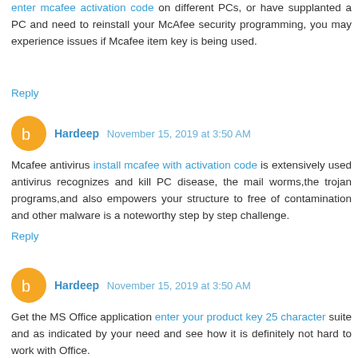enter mcafee activation code on different PCs, or have supplanted a PC and need to reinstall your McAfee security programming, you may experience issues if Mcafee item key is being used.
Reply
Hardeep  November 15, 2019 at 3:50 AM
Mcafee antivirus install mcafee with activation code is extensively used antivirus recognizes and kill PC disease, the mail worms,the trojan programs,and also empowers your structure to free of contamination and other malware is a noteworthy step by step challenge.
Reply
Hardeep  November 15, 2019 at 3:50 AM
Get the MS Office application enter your product key 25 character suite and as indicated by your need and see how it is definitely not hard to work with Office.
Reply